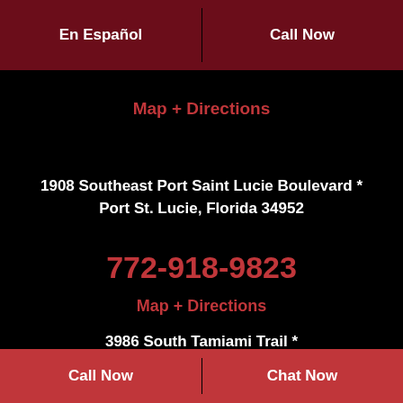En Español | Call Now
Map + Directions
1908 Southeast Port Saint Lucie Boulevard * Port St. Lucie, Florida 34952
772-918-9823
Map + Directions
3986 South Tamiami Trail * Venice, Florida 34293
Call Now | Chat Now